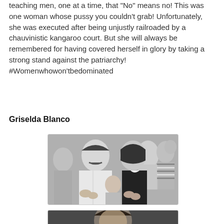teaching men, one at a time, that "No" means no! This was one woman whose pussy you couldn't grab! Unfortunately, she was executed after being unjustly railroaded by a chauvinistic kangaroo court. But she will always be remembered for having covered herself in glory by taking a strong stand against the patriarchy! #Womenwhowon'tbedominated
Griselda Blanco
[Figure (photo): Black and white photograph of a man with a mustache and a woman in a crowd, both appearing to clap]
[Figure (photo): Partially visible black and white or color photograph of a person, cropped at bottom of page]